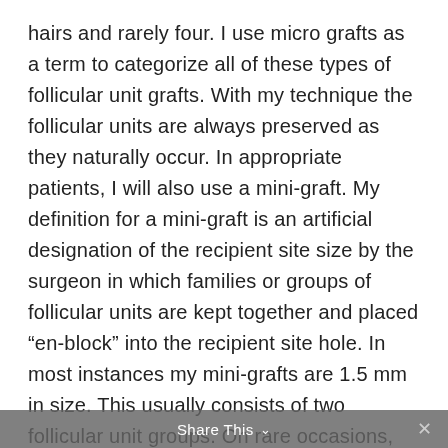hairs and rarely four. I use micro grafts as a term to categorize all of these types of follicular unit grafts. With my technique the follicular units are always preserved as they naturally occur. In appropriate patients, I will also use a mini-graft. My definition for a mini-graft is an artificial designation of the recipient site size by the surgeon in which families or groups of follicular units are kept together and placed “en-block” into the recipient site hole. In most instances my mini-grafts are 1.5 mm in size. This usually consists of two follicular unit groups. On rare occasions, with light colored hair, I may use a 2 mm mini-graft which would have two to three follicular unit families grouped together. Furthermore, if these families where spaced too far apart in the donor area, with too much tissue in
Share This ∨ ×